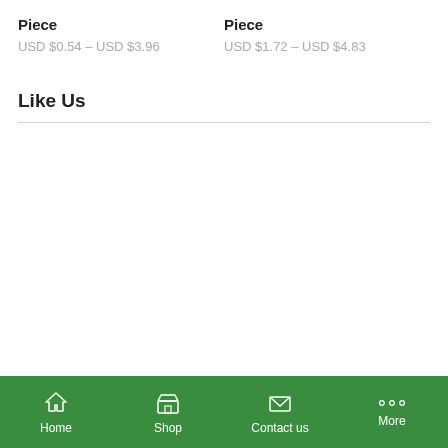Piece
USD $0.54 – USD $3.96
Piece
USD $1.72 – USD $4.83
Like Us
Home  Shop  Contact us  More